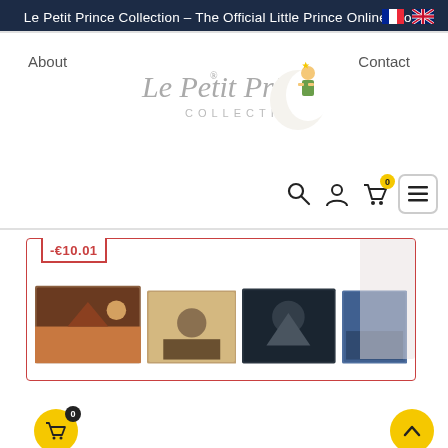Le Petit Prince Collection – The Official Little Prince Online Store
About
Contact
[Figure (logo): Le Petit Prince Collection logo with moon and Little Prince character illustration]
[Figure (illustration): Navigation icons: search, account, cart (with 0 badge), menu]
-€10.01
[Figure (photo): Row of Little Prince themed book or product thumbnails showing various scenes]